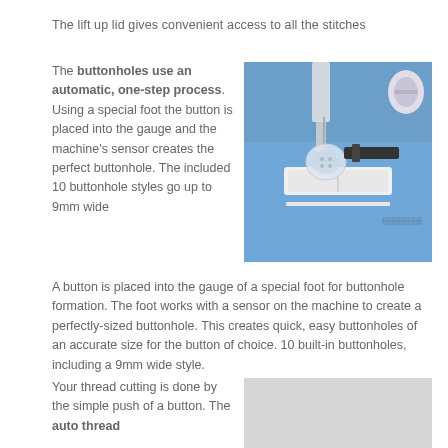The lift up lid gives convenient access to all the stitches
The buttonholes use an automatic, one-step process. Using a special foot the button is placed into the gauge and the machine's sensor creates the perfect buttonhole. The included 10 buttonhole styles go up to 9mm wide
[Figure (photo): Close-up photo of a sewing machine buttonhole foot on blue fabric with a white plastic button placed in the gauge]
A button is placed into the gauge of a special foot for buttonhole formation. The foot works with a sensor on the machine to create a perfectly-sized buttonhole. This creates quick, easy buttonholes of an accurate size for the button of choice. 10 built-in buttonholes, including a 9mm wide style.
Your thread cutting is done by the simple push of a button. The auto thread
[Figure (photo): Partial photo with light grey background, content partially visible]